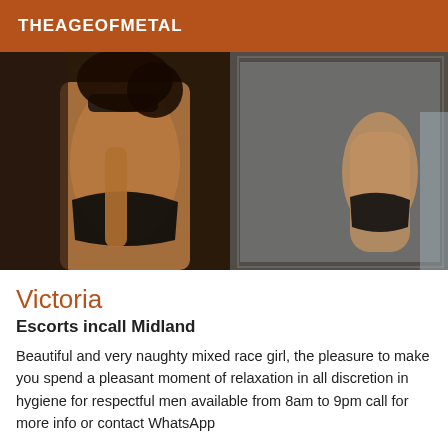THEAGEOFMETAL
[Figure (photo): Woman in black bikini photographed from behind near a mirror, showing reflection]
Victoria
Escorts incall Midland
Beautiful and very naughty mixed race girl, the pleasure to make you spend a pleasant moment of relaxation in all discretion in hygiene for respectful men available from 8am to 9pm call for more info or contact WhatsApp